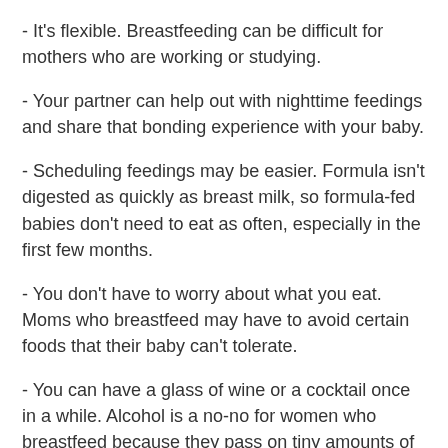- It's flexible. Breastfeeding can be difficult for mothers who are working or studying.
- Your partner can help out with nighttime feedings and share that bonding experience with your baby.
- Scheduling feedings may be easier. Formula isn't digested as quickly as breast milk, so formula-fed babies don't need to eat as often, especially in the first few months.
- You don't have to worry about what you eat. Moms who breastfeed may have to avoid certain foods that their baby can't tolerate.
- You can have a glass of wine or a cocktail once in a while. Alcohol is a no-no for women who breastfeed because they pass on tiny amounts of it to their babies.
- Formula feeding can...